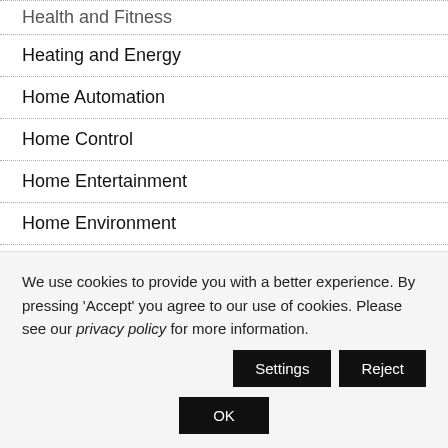Health and Fitness
Heating and Energy
Home Automation
Home Control
Home Entertainment
Home Environment
Home Gym
Home Office
We use cookies to provide you with a better experience. By pressing 'Accept' you agree to our use of cookies. Please see our privacy policy for more information.